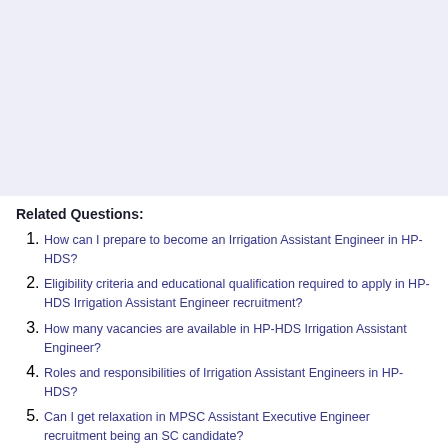[Figure (other): Light blue/lavender background area at the top of the page, likely an image or advertisement placeholder.]
Related Questions:
How can I prepare to become an Irrigation Assistant Engineer in HP-HDS?
Eligibility criteria and educational qualification required to apply in HP-HDS Irrigation Assistant Engineer recruitment?
How many vacancies are available in HP-HDS Irrigation Assistant Engineer?
Roles and responsibilities of Irrigation Assistant Engineers in HP-HDS?
Can I get relaxation in MPSC Assistant Executive Engineer recruitment being an SC candidate?